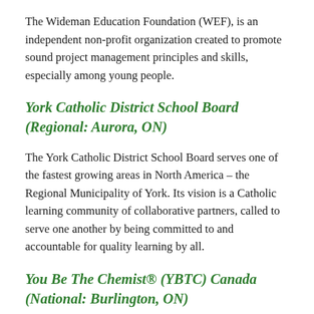The Wideman Education Foundation (WEF), is an independent non-profit organization created to promote sound project management principles and skills, especially among young people.
York Catholic District School Board (Regional: Aurora, ON)
The York Catholic District School Board serves one of the fastest growing areas in North America – the Regional Municipality of York. Its vision is a Catholic learning community of collaborative partners, called to serve one another by being committed to and accountable for quality learning by all.
You Be The Chemist® (YBTC) Canada (National: Burlington, ON)